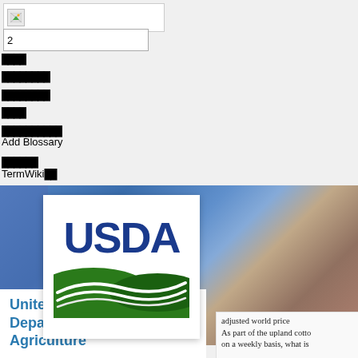[Figure (screenshot): Broken image icon placeholder in white box]
2
[corrupted text blocks - unreadable characters]
Add Blossary
[corrupted text]
TermWiki[corrupted] TermWiki Pro
[Figure (photo): Background photo of people in blue shirts at what appears to be an event or store, with USDA logo overlaid]
[Figure (logo): USDA logo - dark blue text USDA with green wave graphic]
upload
0 Blossaries
41534
United States Department of Agriculture
adjusted world price
As part of the upland cotto
on a weekly basis, what is